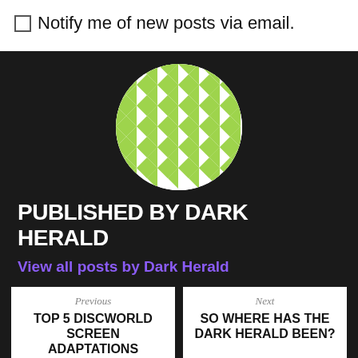Notify me of new posts via email.
[Figure (illustration): Circular geometric avatar with green and white diamond/star pattern on black background]
PUBLISHED BY DARK HERALD
View all posts by Dark Herald
Previous
TOP 5 DISCWORLD SCREEN ADAPTATIONS
Next
SO WHERE HAS THE DARK HERALD BEEN?